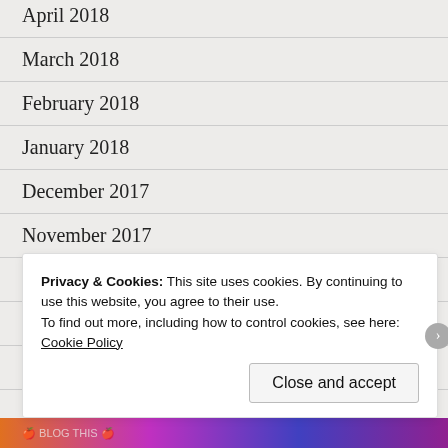April 2018
March 2018
February 2018
January 2018
December 2017
November 2017
October 2017
September 2017
August 2017
Privacy & Cookies: This site uses cookies. By continuing to use this website, you agree to their use. To find out more, including how to control cookies, see here: Cookie Policy
Close and accept